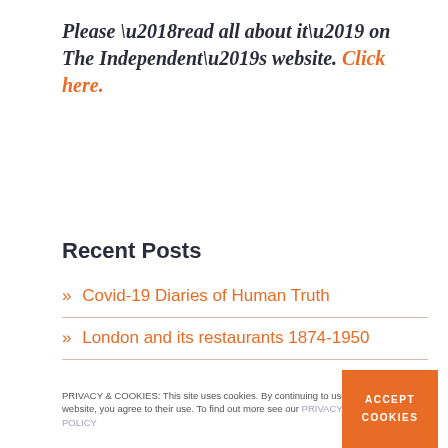Please ‘read all about it’ on The Independent’s website. Click here.
Recent Posts
> Covid-19 Diaries of Human Truth
> London and its restaurants 1874-1950
> Diaries and Silence
PRIVACY & COOKIES: This site uses cookies. By continuing to use this website, you agree to their use. To find out more see our PRIVACY POLICY